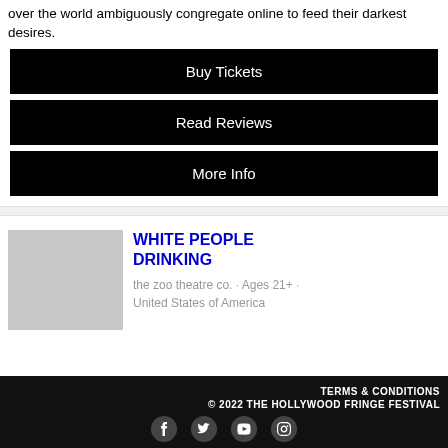over the world ambiguously congregate online to feed their darkest desires.
Buy Tickets
Read Reviews
More Info
WHITE PEOPLE DRINKING
the zoo theatre co. · Ages 21+ · United States of America
TERMS & CONDITIONS © 2022 THE HOLLYWOOD FRINGE FESTIVAL